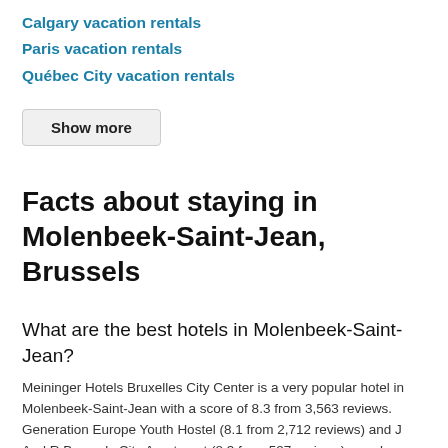Calgary vacation rentals
Paris vacation rentals
Québec City vacation rentals
Show more
Facts about staying in Molenbeek-Saint-Jean, Brussels
What are the best hotels in Molenbeek-Saint-Jean?
Meininger Hotels Bruxelles City Center is a very popular hotel in Molenbeek-Saint-Jean with a score of 8.3 from 3,563 reviews. Generation Europe Youth Hostel (8.1 from 2,712 reviews) and J And R Brussels City Apartment (8.3 from 527 reviews) are also highly rated Molenbeek-Saint-Jean hotels based on recent feedback from HotelsCombined users.